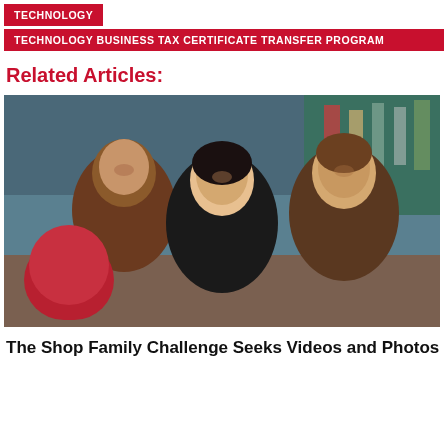TECHNOLOGY
TECHNOLOGY BUSINESS TAX CERTIFICATE TRANSFER PROGRAM
Related Articles:
[Figure (photo): Three smiling people standing in a coffee shop or cafe setting. A Black man in a dark red shirt is on the left, an Asian woman in a black shirt is in the center, and a white man in a brown shirt is on the right. Coffee shop equipment and shelves visible in background.]
The Shop Family Challenge Seeks Videos and Photos